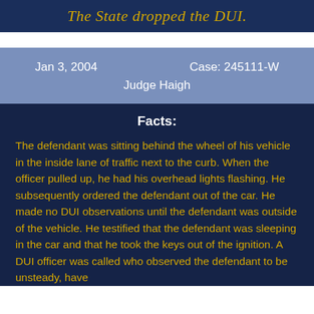The State dropped the DUI.
Jan 3, 2004    Case: 245111-W
Judge Haigh
Facts:
The defendant was sitting behind the wheel of his vehicle in the inside lane of traffic next to the curb. When the officer pulled up, he had his overhead lights flashing. He subsequently ordered the defendant out of the car. He made no DUI observations until the defendant was outside of the vehicle. He testified that the defendant was sleeping in the car and that he took the keys out of the ignition. A DUI officer was called who observed the defendant to be unsteady, have